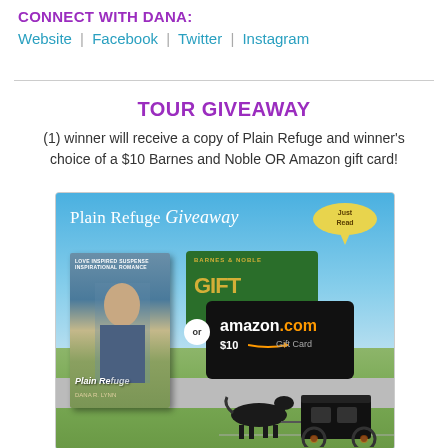CONNECT WITH DANA:
Website | Facebook | Twitter | Instagram
TOUR GIVEAWAY
(1) winner will receive a copy of Plain Refuge and winner's choice of a $10 Barnes and Noble OR Amazon gift card!
[Figure (illustration): Giveaway promotional image showing 'Plain Refuge Giveaway' text with JustRead badge, a book cover of Plain Refuge (Love Inspired Suspense), a Barnes & Noble gift card, an Amazon.com $10 Gift Card, and a horse-drawn Amish buggy on a country road]